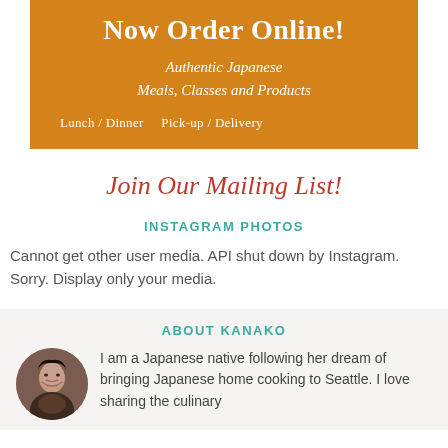[Figure (infographic): Orange banner advertisement: Now Order Online! Authentic Japanese Meals, Classes and Products. Lunch / Dinner  Pick-up / Delivery]
Join Our Mailing List!
INSTAGRAM PHOTOS
Cannot get other user media. API shut down by Instagram. Sorry. Display only your media.
ABOUT KANAKO
I am a Japanese native following her dream of bringing Japanese home cooking to Seattle. I love sharing the culinary